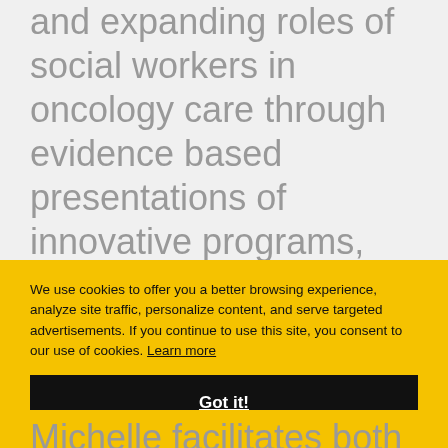and expanding roles of social workers in oncology care through evidence based presentations of innovative programs, therapies, interventions, and partnerships that improve and promote patient centered care. Michelle spoke about proton therapy and the various services available at our Center, including art therapy to
We use cookies to offer you a better browsing experience, analyze site traffic, personalize content, and serve targeted advertisements. If you continue to use this site, you consent to our use of cookies. Learn more
Got it!
Michelle facilitates both individual